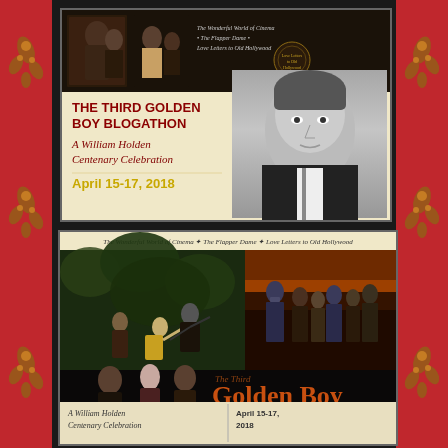[Figure (illustration): Top promotional poster for The Third Golden Boy Blogathon - A William Holden Centenary Celebration, April 15-17, 2018. Features vintage Hollywood photos with beige/cream background, red title text, gold date text, and a portrait of William Holden.]
[Figure (illustration): Bottom promotional banner for The Third Golden Boy Blogathon - A William Holden Centenary Celebration, April 15-17, 2018. Features dramatic movie scene imagery in dark tones with orange/brown 'Golden Boy' title text and white 'Blogathon' subtitle.]